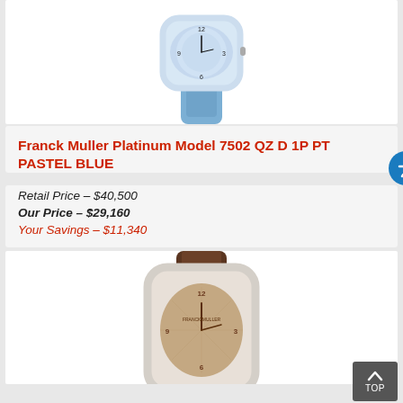[Figure (photo): Franck Muller luxury watch with blue leather strap, diamond-set case, and pavé diamond dial — partial top portion visible]
Franck Muller Platinum Model 7502 QZ D 1P PT PASTEL BLUE
Retail Price – $40,500
Our Price – $29,160
Your Savings – $11,340
[Figure (photo): Franck Muller luxury watch with brown leather strap, diamond-set tonneau case, and rose-toned dial — partially visible from below]